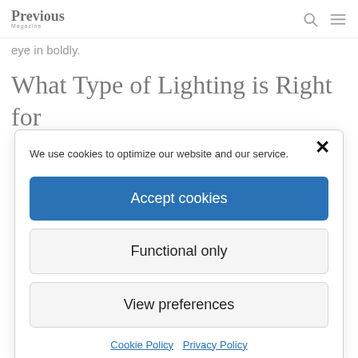Previous Magazine
eye in boldly.
What Type of Lighting is Right for
We use cookies to optimize our website and our service.
Accept cookies
Functional only
View preferences
Cookie Policy  Privacy Policy